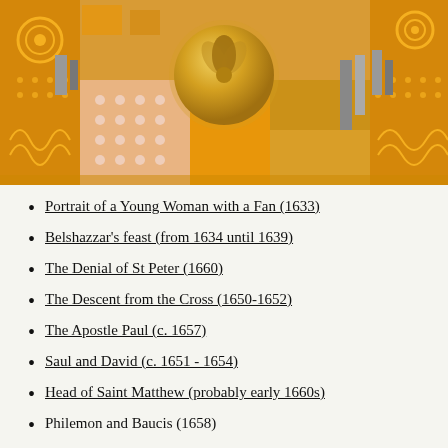[Figure (illustration): Decorative golden/orange art illustration featuring geometric shapes, patterns, dots, scrollwork, and a central golden medallion with a floral motif on an amber/orange background.]
Portrait of a Young Woman with a Fan (1633)
Belshazzar's feast (from 1634 until 1639)
The Denial of St Peter (1660)
The Descent from the Cross (1650-1652)
The Apostle Paul (c. 1657)
Saul and David (c. 1651 - 1654)
Head of Saint Matthew (probably early 1660s)
Philemon and Baucis (1658)